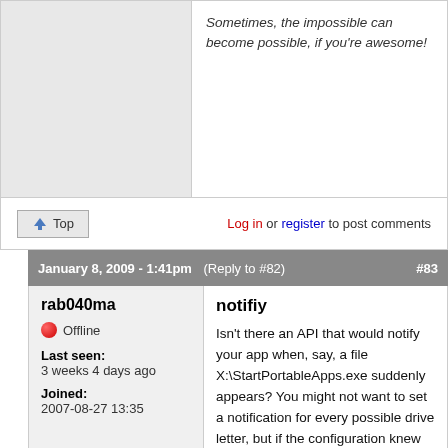Sometimes, the impossible can become possible, if you're awesome!
Top
Log in or register to post comments
January 8, 2009 - 1:41pm  (Reply to #82)  #83
notifiy
rab040ma
Offline
Last seen: 3 weeks 4 days ago
Joined: 2007-08-27 13:35
Isn't there an API that would notify your app when, say, a file X:\StartPortableApps.exe suddenly appears? You might not want to set a notification for every possible drive letter, but if the configuration knew that drive  had potential, might it be